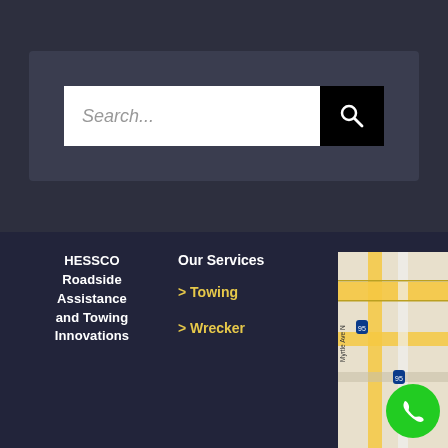[Figure (screenshot): Search bar UI with white input field showing placeholder text 'Search...' and a black search button with magnifying glass icon, on a dark background panel]
HESSCO Roadside Assistance and Towing Innovations
Our Services
> Towing
> Wrecker
[Figure (map): Street map showing road intersections with Myrtle Ave N visible, partial text 'Duval' and 'Clerk of' visible, with a green phone button overlay]